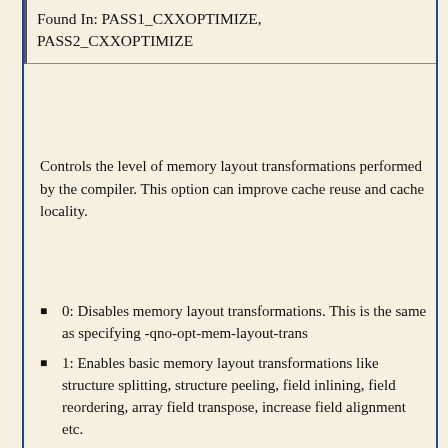Found In: PASS1_CXXOPTIMIZE, PASS2_CXXOPTIMIZE
Controls the level of memory layout transformations performed by the compiler. This option can improve cache reuse and cache locality.
0: Disables memory layout transformations. This is the same as specifying -qno-opt-mem-layout-trans
1: Enables basic memory layout transformations like structure splitting, structure peeling, field inlining, field reordering, array field transpose, increase field alignment etc.
2: Enables more memory layout transformations like advanced structure splitting. This is the same as specifying -qopt-mem-layout-trans